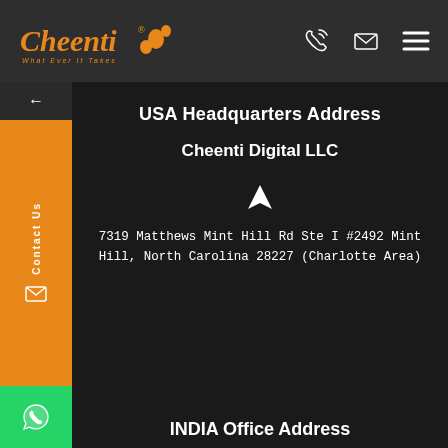[Figure (logo): Cheenti logo with orange stylized text and ant mascot, tagline 'What Ever It Takes']
USA Headquarters Address
Cheenti Digital LLC
[Figure (other): Location/navigation arrow icon]
7319 Matthews Mint Hill Rd Ste I #2492 Mint Hill, North Carolina 28227 (Charlotte Area)
INDIA Office Address